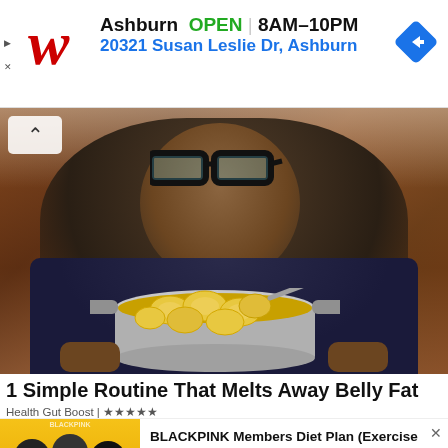[Figure (screenshot): Walgreens advertisement banner showing logo, Ashburn location, OPEN status 8AM-10PM, address 20321 Susan Leslie Dr Ashburn, navigation arrow icon]
[Figure (photo): A man wearing glasses and a dark patterned shirt holding a stainless steel pot filled with lemon slices in water, in a kitchen setting with brick wall background. A chevron/up arrow button overlay in top left.]
1 Simple Routine That Melts Away Belly Fat
Health Gut Boost | ☆☆☆☆☆
[Figure (photo): Thumbnail of BLACKPINK members in colorful outfits against yellow background]
BLACKPINK Members Diet Plan (Exercise and Workout)